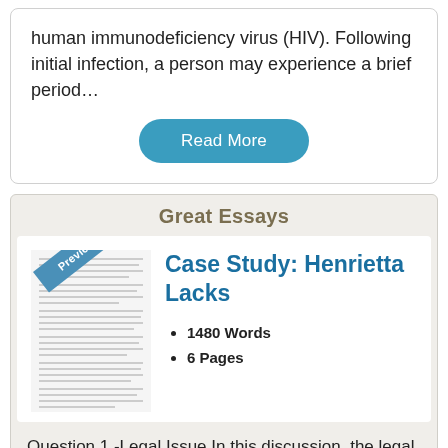human immunodeficiency virus (HIV). Following initial infection, a person may experience a brief period…
Read More
Great Essays
[Figure (other): Preview thumbnail of an essay document with a blue 'Preview' ribbon banner]
Case Study: Henrietta Lacks
1480 Words
6 Pages
Question 1 -Legal Issue In this discussion, the legal issue is in regards to privacy rights. Currently, policies allow researchers to input information in a database that all organizations and/or researchers